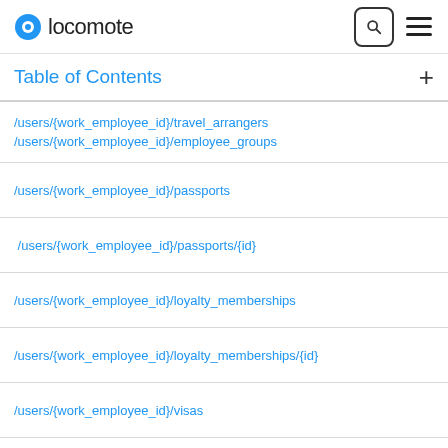locomote
Table of Contents
| Path |  |
| --- | --- |
| /users/{work_employee_id}/travel_arrangers |  |
| /users/{work_employee_id}/employee_groups |  |
| /users/{work_employee_id}/passports | G |
| /users/{work_employee_id}/passports/{id} | G |
| /users/{work_employee_id}/loyalty_memberships | G |
| /users/{work_employee_id}/loyalty_memberships/{id} | G |
| /users/{work_employee_id}/visas | G |
| /users/{work_employee_id}/visas/{id} | G |
| /users/{work_employee_id}/credit_cards | G |